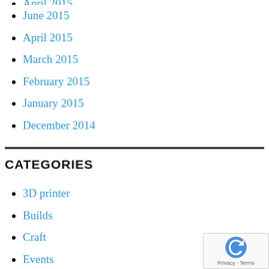June 2015
April 2015
March 2015
February 2015
January 2015
December 2014
CATEGORIES
3D printer
Builds
Craft
Events
Laser